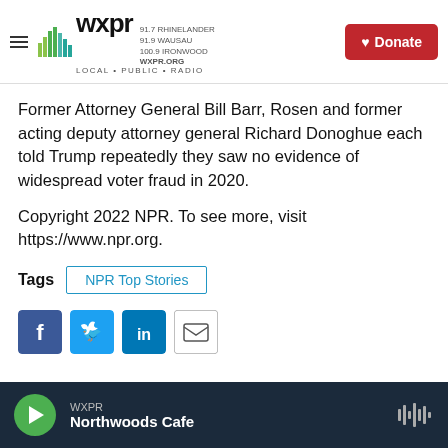WXPR LOCAL · PUBLIC · RADIO | 91.7 RHINELANDER 91.9 WAUSAU 100.9 IRONWOOD WXPR.ORG | Donate
Former Attorney General Bill Barr, Rosen and former acting deputy attorney general Richard Donoghue each told Trump repeatedly they saw no evidence of widespread voter fraud in 2020.
Copyright 2022 NPR. To see more, visit https://www.npr.org.
Tags  NPR Top Stories
[Figure (infographic): Social sharing buttons: Facebook (blue), Twitter (blue), LinkedIn (blue), Email (outlined)]
WXPR Northwoods Cafe